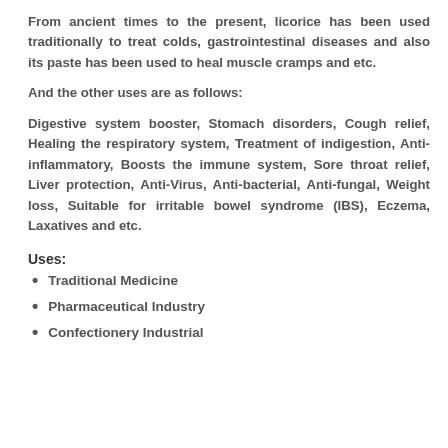From ancient times to the present, licorice has been used traditionally to treat colds, gastrointestinal diseases and also its paste has been used to heal muscle cramps and etc.
And the other uses are as follows:
Digestive system booster, Stomach disorders, Cough relief, Healing the respiratory system, Treatment of indigestion, Anti-inflammatory, Boosts the immune system, Sore throat relief, Liver protection, Anti-Virus, Anti-bacterial, Anti-fungal, Weight loss, Suitable for irritable bowel syndrome (IBS), Eczema, Laxatives and etc.
Uses:
Traditional Medicine
Pharmaceutical Industry
Confectionery Industrial